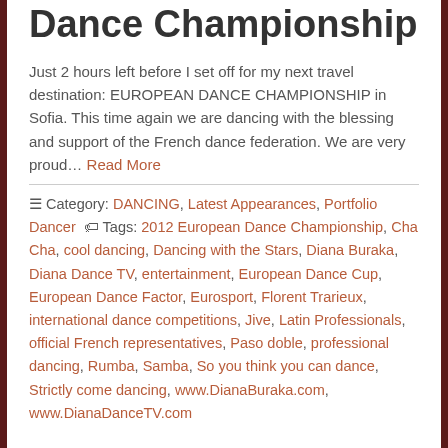Dance Championship
Just 2 hours left before I set off for my next travel destination: EUROPEAN DANCE CHAMPIONSHIP in Sofia. This time again we are dancing with the blessing and support of the French dance federation. We are very proud… Read More
☰ Category: DANCING, Latest Appearances, Portfolio Dancer 🏷 Tags: 2012 European Dance Championship, Cha Cha, cool dancing, Dancing with the Stars, Diana Buraka, Diana Dance TV, entertainment, European Dance Cup, European Dance Factor, Eurosport, Florent Trarieux, international dance competitions, Jive, Latin Professionals, official French representatives, Paso doble, professional dancing, Rumba, Samba, So you think you can dance, Strictly come dancing, www.DianaBuraka.com, www.DianaDanceTV.com